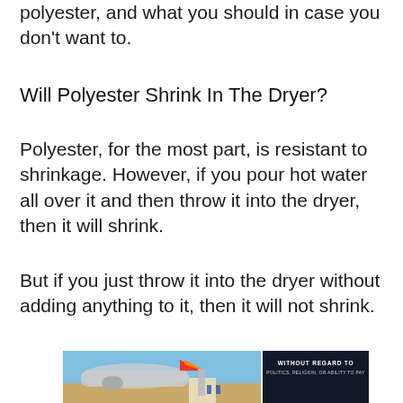polyester, and what you should in case you don't want to.
Will Polyester Shrink In The Dryer?
Polyester, for the most part, is resistant to shrinkage. However, if you pour hot water all over it and then throw it into the dryer, then it will shrink.
But if you just throw it into the dryer without adding anything to it, then it will not shrink.
[Figure (photo): Advertisement banner showing an airplane being loaded with cargo at an airport, with a dark overlay panel on the right reading WITHOUT REGARD TO POLITICS, RELIGION, OR ABILITY TO PAY]